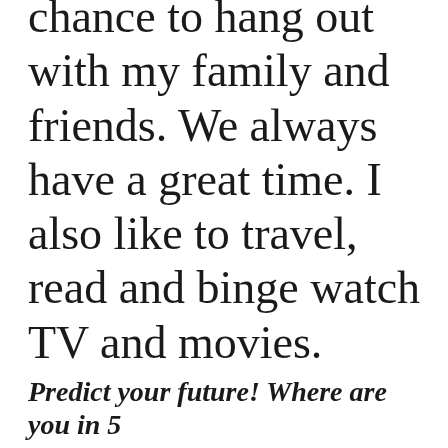chance to hang out with my family and friends. We always have a great time. I also like to travel, read and binge watch TV and movies.
Predict your future! Where are you in 5